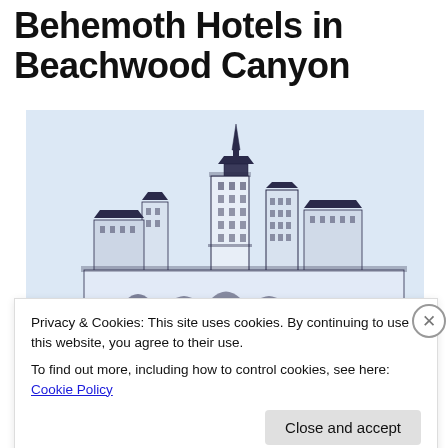Behemoth Hotels in Beachwood Canyon
[Figure (illustration): Architectural illustration/sketch of a large multi-tower hotel complex (Behemoth Hotels) in Beachwood Canyon, drawn in dark navy ink on a light blue background. The building features multiple tall towers, arched entryways, and detailed facade ornamentation in a Spanish Colonial/Art Deco style.]
Privacy & Cookies: This site uses cookies. By continuing to use this website, you agree to their use.
To find out more, including how to control cookies, see here: Cookie Policy
Close and accept